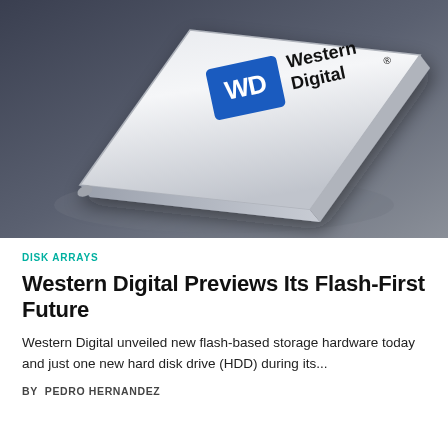[Figure (photo): A Western Digital storage device shown at an angle with the WD logo and 'Western Digital' branding on a silver/white surface against a dark grey background.]
DISK ARRAYS
Western Digital Previews Its Flash-First Future
Western Digital unveiled new flash-based storage hardware today and just one new hard disk drive (HDD) during its...
BY  PEDRO HERNANDEZ